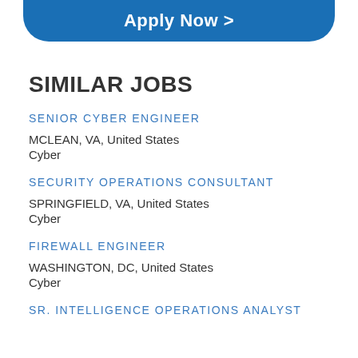[Figure (other): Blue rounded button with text 'Apply Now >']
SIMILAR JOBS
SENIOR CYBER ENGINEER
MCLEAN, VA, United States
Cyber
SECURITY OPERATIONS CONSULTANT
SPRINGFIELD, VA, United States
Cyber
FIREWALL ENGINEER
WASHINGTON, DC, United States
Cyber
SR. INTELLIGENCE OPERATIONS ANALYST